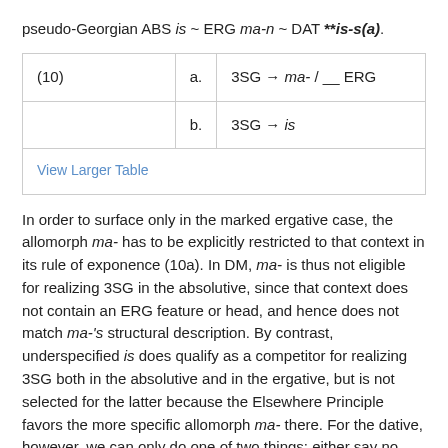pseudo-Georgian ABS is ~ ERG ma-n ~ DAT **is-s(a).
| (10) | a. | 3SG → ma- / __ ERG |
|  | b. | 3SG → is |
| View Larger Table |  |  |
In order to surface only in the marked ergative case, the allomorph ma- has to be explicitly restricted to that context in its rule of exponence (10a). In DM, ma- is thus not eligible for realizing 3SG in the absolutive, since that context does not contain an ERG feature or head, and hence does not match ma-'s structural description. By contrast, underspecified is does qualify as a competitor for realizing 3SG both in the absolutive and in the ergative, but is not selected for the latter because the Elsewhere Principle favors the more specific allomorph ma- there. For the dative, however, we can only do one of two things: either say no more about it or stipulate a third